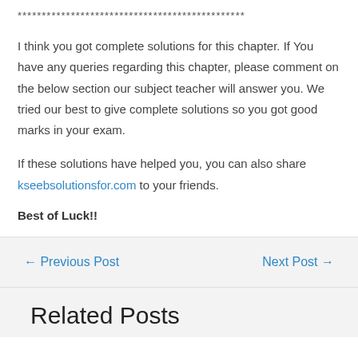***********************************************
I think you got complete solutions for this chapter. If You have any queries regarding this chapter, please comment on the below section our subject teacher will answer you. We tried our best to give complete solutions so you got good marks in your exam.
If these solutions have helped you, you can also share kseebsolutionsfor.com to your friends.
Best of Luck!!
← Previous Post   Next Post →
Related Posts